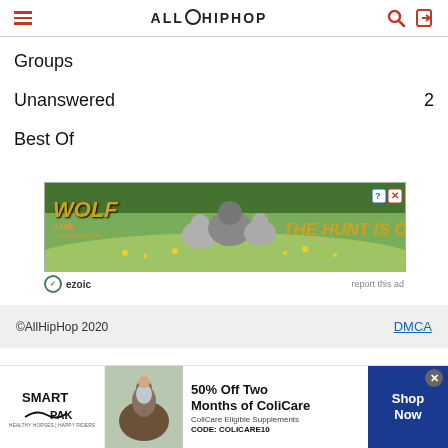AllHipHop
Groups
Unanswered  2
Best Of
[Figure (photo): Wolf Game advertisement banner showing wolves in a field with text 'THE HUNT IS ON!' and Wolf Game logo]
ezoic  report this ad
©AllHipHop 2020  DMCA
[Figure (photo): SmartPak advertisement banner showing a horse and rider with '50% Off Two Months of ColiCare' offer, CODE: COLICARE10, Shop Now button]